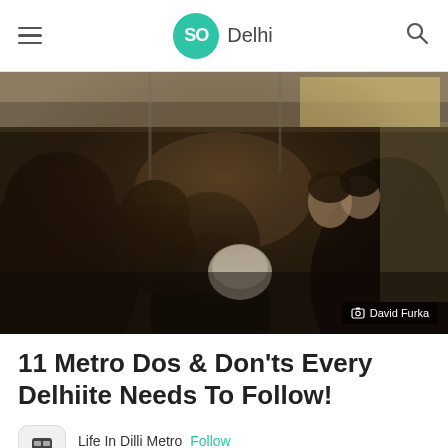SO Delhi
[Figure (photo): Crowded Delhi Metro train interior with many passengers standing close together, blurred action shot]
David Furka
11 Metro Dos & Don'ts Every Delhiite Needs To Follow!
Life In Dilli Metro  Follow
25 Aug 2019